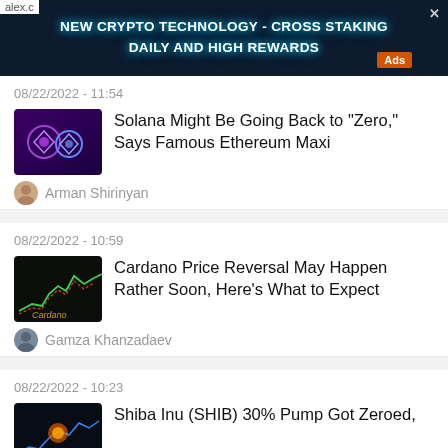[Figure (screenshot): Dark crypto ad banner: NEW CRYPTO TECHNOLOGY - CROSS STAKING DAILY AND HIGH REWARDS with Ads label and close button]
08/22/2022 - 11:54
[Figure (photo): Solana and Ethereum logos on purple background]
Solana Might Be Going Back to "Zero," Says Famous Ethereum Maxi
Arman Shirinyan
08/22/2022 - 10:59
[Figure (photo): Cardano price chart on dark background]
Cardano Price Reversal May Happen Rather Soon, Here's What to Expect
Gamza Khanzadaev
08/22/2022 - 10:23
[Figure (photo): Shiba Inu cryptocurrency image]
Shiba Inu (SHIB) 30% Pump Got Zeroed,